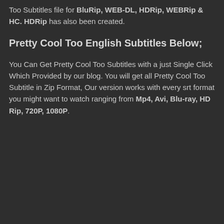Too Subtitles file for BluRip, WEB-DL, HDRip, WEBRip & HC. HDRip has also been created.
Pretty Cool Too English Subtitles Below;
You Can Get Pretty Cool Too Subtitles with a just Single Click Which Provided by our blog. You will get all Pretty Cool Too Subtitle in Zip Format, Our version works with every srt format you might want to watch ranging from Mp4, Avi, Blu-ray, HD Rip, 720P, 1080P.